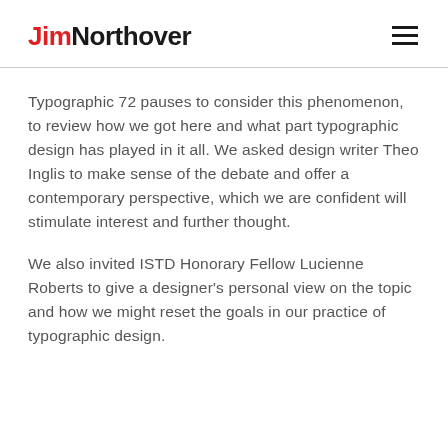JimNorthover
Typographic 72 pauses to consider this phenomenon, to review how we got here and what part typographic design has played in it all. We asked design writer Theo Inglis to make sense of the debate and offer a contemporary perspective, which we are confident will stimulate interest and further thought.
We also invited ISTD Honorary Fellow Lucienne Roberts to give a designer's personal view on the topic and how we might reset the goals in our practice of typographic design.